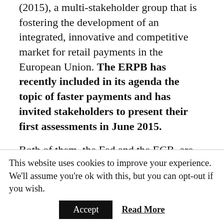(2015), a multi-stakeholder group that is fostering the development of an integrated, innovative and competitive market for retail payments in the European Union. The ERPB has recently included in its agenda the topic of faster payments and has invited stakeholders to present their first assessments in June 2015.
Both of them, the Fed and the ECB, are encouraged to seize the opportunity to modernise current payment systems by setting the incentives to develop schemes and standards needed to reach interoperability in a trustworthy global retail payments environment.
This website uses cookies to improve your experience. We'll assume you're ok with this, but you can opt-out if you wish.